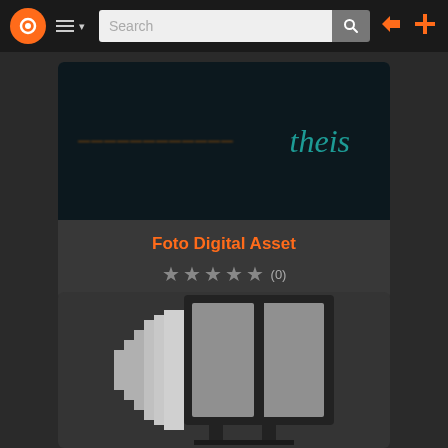Navigation bar with logo, menu, search, login and add buttons
[Figure (screenshot): Dark themed card showing a digital asset thumbnail with teal 'theis' text on dark background]
Foto Digital Asset
★★★★★ (0)
[Figure (illustration): Pixel art style camera/projector icon on dark background]